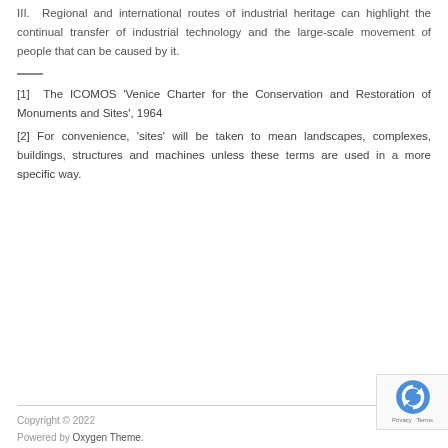III. Regional and international routes of industrial heritage can highlight the continual transfer of industrial technology and the large-scale movement of people that can be caused by it.
[1] The ICOMOS 'Venice Charter for the Conservation and Restoration of Monuments and Sites', 1964
[2] For convenience, 'sites' will be taken to mean landscapes, complexes, buildings, structures and machines unless these terms are used in a more specific way.
Copyright © 2022
Powered by Oxygen Theme.